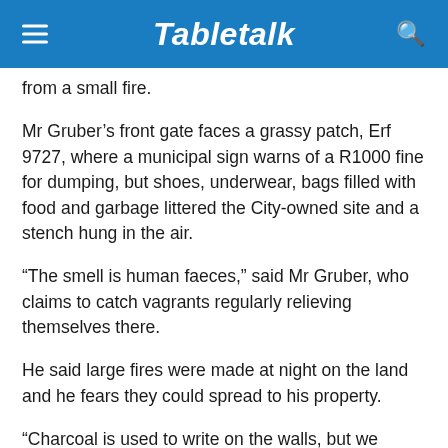Tabletalk
from a small fire.
Mr Gruber's front gate faces a grassy patch, Erf 9727, where a municipal sign warns of a R1000 fine for dumping, but shoes, underwear, bags filled with food and garbage littered the City-owned site and a stench hung in the air.
“The smell is human faeces,” said Mr Gruber, who claims to catch vagrants regularly relieving themselves there.
He said large fires were made at night on the land and he fears they could spread to his property.
“Charcoal is used to write on the walls, but we cannot chase them away,” he said.